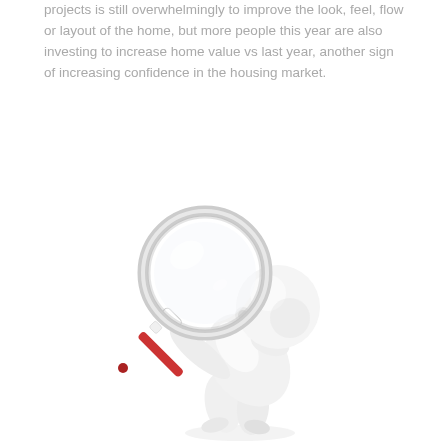projects is still overwhelmingly to improve the look, feel, flow or layout of the home, but more people this year are also investing to increase home value vs last year, another sign of increasing confidence in the housing market.
[Figure (illustration): A white 3D cartoon figure (person) bending over and holding a large magnifying glass with a red and white handle, examining something on the ground. The figure is white/off-white against a white background.]